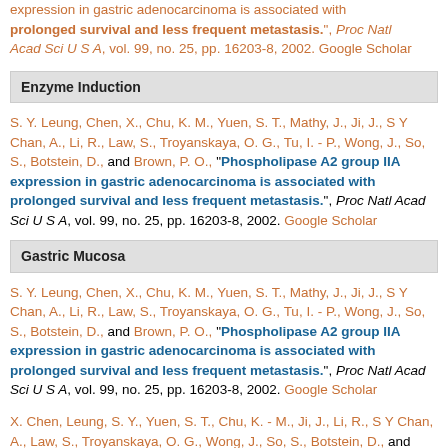expression in gastric adenocarcinoma is associated with prolonged survival and less frequent metastasis.", Proc Natl Acad Sci U S A, vol. 99, no. 25, pp. 16203-8, 2002. Google Scholar
Enzyme Induction
S. Y. Leung, Chen, X., Chu, K. M., Yuen, S. T., Mathy, J., Ji, J., S Y Chan, A., Li, R., Law, S., Troyanskaya, O. G., Tu, I. - P., Wong, J., So, S., Botstein, D., and Brown, P. O., “Phospholipase A2 group IIA expression in gastric adenocarcinoma is associated with prolonged survival and less frequent metastasis.", Proc Natl Acad Sci U S A, vol. 99, no. 25, pp. 16203-8, 2002. Google Scholar
Gastric Mucosa
S. Y. Leung, Chen, X., Chu, K. M., Yuen, S. T., Mathy, J., Ji, J., S Y Chan, A., Li, R., Law, S., Troyanskaya, O. G., Tu, I. - P., Wong, J., So, S., Botstein, D., and Brown, P. O., “Phospholipase A2 group IIA expression in gastric adenocarcinoma is associated with prolonged survival and less frequent metastasis.", Proc Natl Acad Sci U S A, vol. 99, no. 25, pp. 16203-8, 2002. Google Scholar
X. Chen, Leung, S. Y., Yuen, S. T., Chu, K. - M., Ji, J., Li, R., S Y Chan, A., Law, S., Troyanskaya, O. G., Wong, J., So, S., Botstein, D., and Brown, P. O., “Variation in gene expression patterns in human gastric cancers.", Mol Biol Cell, vol. 14, no. 8, pp. 3208-15, 2003. Google Scholar